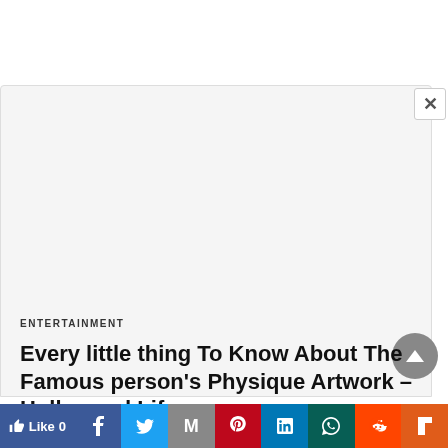[Figure (screenshot): White ad overlay/modal area with close button (×) in upper right corner, shown over a webpage background]
ENTERTAINMENT
Every little thing To Know About The Famous person's Physique Artwork – Hollywood Life
[Figure (infographic): Social sharing bar with buttons: Like 0 (Facebook), Facebook (f), Twitter, Gmail (M), Pinterest, LinkedIn, WhatsApp, Reddit, Flipboard]